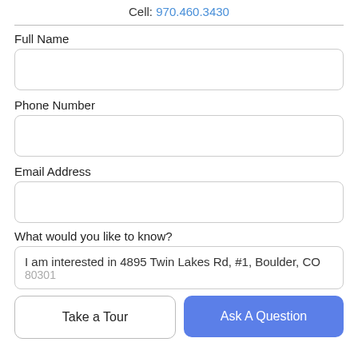Cell: 970.460.3430
Full Name
Phone Number
Email Address
What would you like to know?
I am interested in 4895 Twin Lakes Rd, #1, Boulder, CO
Take a Tour
Ask A Question